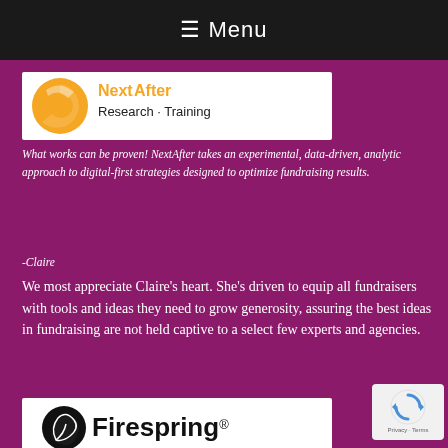≡ Menu
[Figure (logo): NextAfter logo — yellow circular arrow graphic with 'NextAfter' text in yellow and black]
What works can be proven! NextAfter takes an experimental, data-driven, analytic approach to digital-first strategies designed to optimize fundraising results.
-Claire
We most appreciate Claire's heart. She's driven to equip all fundraisers with tools and ideas they need to grow generosity, assuring the best ideas in fundraising are not held captive to a select few experts and agencies.
[Figure (logo): Firespring logo — black leaf/swirl icon with 'Firespring' text in bold black]
Firespring offers beautiful websites with an integrated marketing,